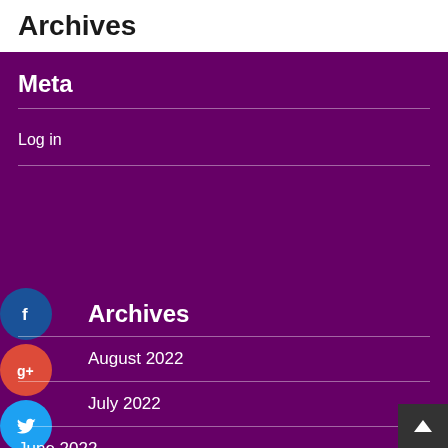Archives
Meta
Log in
Archives
August 2022
July 2022
June 2022